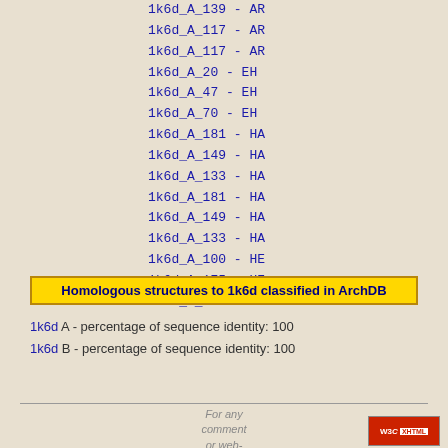1k6d_A_139 - AR
1k6d_A_117 - AR
1k6d_A_117 - AR
1k6d_A_20 - EH
1k6d_A_47 - EH
1k6d_A_70 - EH
1k6d_A_181 - HA
1k6d_A_149 - HA
1k6d_A_133 - HA
1k6d_A_181 - HA
1k6d_A_149 - HA
1k6d_A_133 - HA
1k6d_A_100 - HE
1k6d_A_175 - HE
1k6d_A_169 - HH
Homologous structures to 1k6d classified in ArchDB
1k6d A - percentage of sequence identity: 100
1k6d B - percentage of sequence identity: 100
For any comment or web-